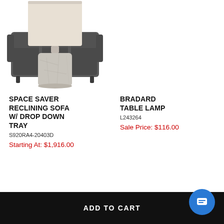[Figure (photo): Dark gray three-seat reclining sofa with drop-down tray, photographed from a slight angle on white background]
SPACE SAVER RECLINING SOFA W/ DROP DOWN TRAY
S920RA4-20403D
Starting At: $1,916.00
[Figure (photo): Table lamp with cylindrical marble base and off-white/linen cylindrical shade, photographed on white background]
BRADARD TABLE LAMP
L243264
Sale Price: $116.00
additional options available
ADD TO CART